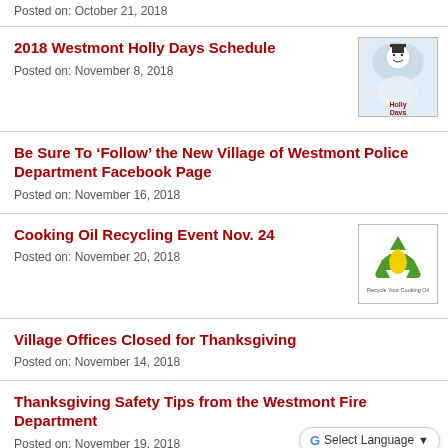Posted on: October 21, 2018
2018 Westmont Holly Days Schedule
Posted on: November 8, 2018
[Figure (logo): Holly Days snowman logo with text 'Holly Days']
Be Sure To ‘Follow’ the New Village of Westmont Police Department Facebook Page
Posted on: November 16, 2018
Cooking Oil Recycling Event Nov. 24
Posted on: November 20, 2018
[Figure (logo): Recycle Your Cooking Oil green recycling logo]
Village Offices Closed for Thanksgiving
Posted on: November 14, 2018
Thanksgiving Safety Tips from the Westmont Fire Department
Posted on: November 19, 2018